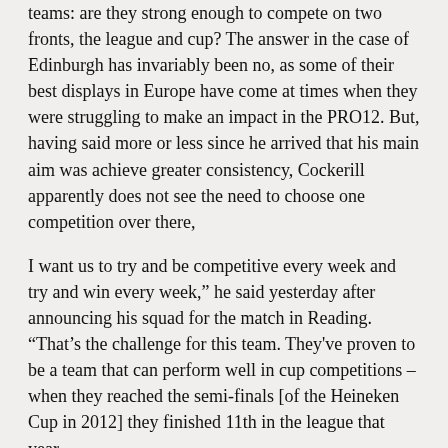teams: are they strong enough to compete on two fronts, the league and cup? The answer in the case of Edinburgh has invariably been no, as some of their best displays in Europe have come at times when they were struggling to make an impact in the PRO12. But, having said more or less since he arrived that his main aim was achieve greater consistency, Cockerill apparently does not see the need to choose one competition over there,
I want us to try and be competitive every week and try and win every week," he said yesterday after announcing his squad for the match in Reading. "That's the challenge for this team. They've proven to be a team that can perform well in cup competitions – when they reached the semi-finals [of the Heineken Cup in 2012] they finished 11th in the league that year.
"It's clearly a team that can raise itself on occasion, and we need to be a team that raises itself every week. We're going to go to Irish and try and win the game. Same when we go to Russia [to play Krasny Yar in the Challenge Cup] and then